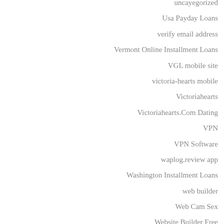uncayegorized
Usa Payday Loans
verify email address
Vermont Online Installment Loans
VGL mobile site
victoria-hearts mobile
Victoriahearts
Victoriahearts.Com Dating
VPN
VPN Software
waplog.review app
Washington Installment Loans
web builder
Web Cam Sex
Website Builder Free